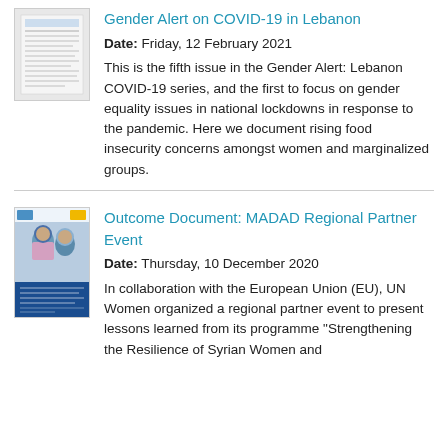[Figure (other): Thumbnail image of Gender Alert on COVID-19 in Lebanon document cover]
Gender Alert on COVID-19 in Lebanon
Date: Friday, 12 February 2021
This is the fifth issue in the Gender Alert: Lebanon COVID-19 series, and the first to focus on gender equality issues in national lockdowns in response to the pandemic. Here we document rising food insecurity concerns amongst women and marginalized groups.
[Figure (other): Thumbnail image of Outcome Document: MADAD Regional Partner Event document cover showing two women]
Outcome Document: MADAD Regional Partner Event
Date: Thursday, 10 December 2020
In collaboration with the European Union (EU), UN Women organized a regional partner event to present lessons learned from its programme "Strengthening the Resilience of Syrian Women and